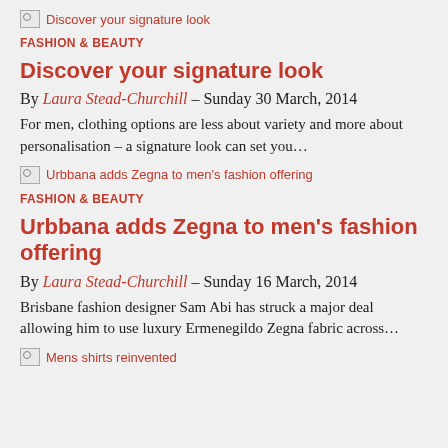[Figure (illustration): Broken image placeholder for 'Discover your signature look']
FASHION & BEAUTY
Discover your signature look
By Laura Stead-Churchill – Sunday 30 March, 2014
For men, clothing options are less about variety and more about personalisation – a signature look can set you…
[Figure (illustration): Broken image placeholder for 'Urbbana adds Zegna to men's fashion offering']
FASHION & BEAUTY
Urbbana adds Zegna to men's fashion offering
By Laura Stead-Churchill – Sunday 16 March, 2014
Brisbane fashion designer Sam Abi has struck a major deal allowing him to use luxury Ermenegildo Zegna fabric across…
[Figure (illustration): Broken image placeholder for 'Mens shirts reinvented']